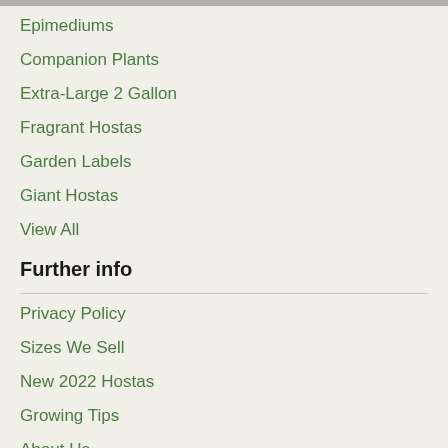Epimediums
Companion Plants
Extra-Large 2 Gallon
Fragrant Hostas
Garden Labels
Giant Hostas
View All
Further info
Privacy Policy
Sizes We Sell
New 2022 Hostas
Growing Tips
About Us
Shipping & Returns
Contact Us